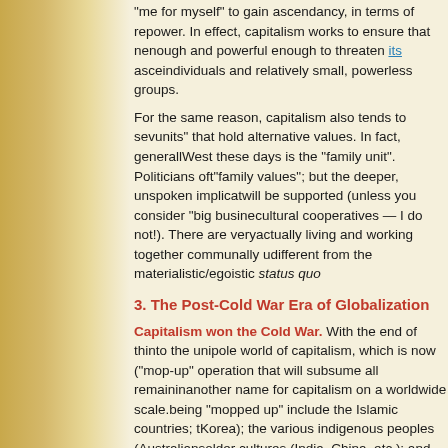"me for myself" to gain ascendancy, in terms of real power. In effect, capitalism works to ensure that no one group is large enough and powerful enough to threaten its ascendancy, leaving only individuals and relatively small, powerless groups.
For the same reason, capitalism also tends to sever "social units" that hold alternative values. In fact, generally speaking, in the West these days is the "family unit". Politicians often speak of "family values"; but the deeper, unspoken implication is that no other group will be supported (unless you consider "big business" and its cultural cooperatives — I do not!). There are very few groups of people actually living and working together communally under values radically different from the materialistic/egoistic status quo.
3. The Post-Cold War Era of Globalization
Capitalism won the Cold War. With the end of the Cold War, we moved into the unipole world of capitalism, which is now (arguably) engaged in a "mop-up" operation that will subsume all remaining resistors. Globalization is another name for capitalism on a worldwide scale. Those cultures currently being "mopped up" include the Islamic countries; the last holdouts (North Korea); the various indigenous peoples (Australians, etc.); the ancient older cultures (India, China, etc.); and newly wizened cultures such as Japan, which gained wisdom firsthand through the catastrophic destruction wrought by the World Wars in their own homelands. These cultures watch with both envy and dismay: envy, because all egos desire material prosperity; and dismay, in that they see a soulless, adolescent culture that can think of nothing better or greater to do with their leisure time than (eat hamburgers) taking over the world. This culture is